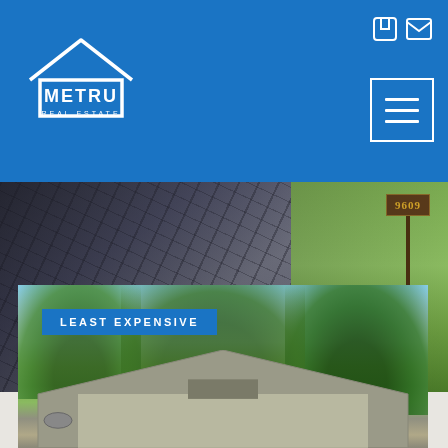METRU REAL ESTATE
[Figure (photo): Property listing photo showing pavement/driveway on left and green lawn with address sign '9609' on right]
9609 Reding Circle
$1,349,000
[Figure (logo): Broker Reciprocity logo with house icon]
[Figure (photo): House photo with trees in background, tagged LEAST EXPENSIVE]
LEAST EXPENSIVE